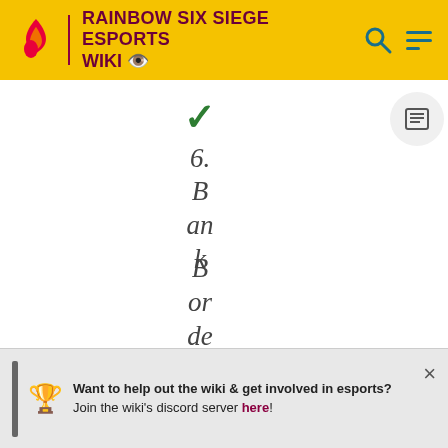RAINBOW SIX SIEGE ESPORTS WIKI
✓
6.
B
an
k
B
or
de
Want to help out the wiki & get involved in esports? Join the wiki's discord server here!